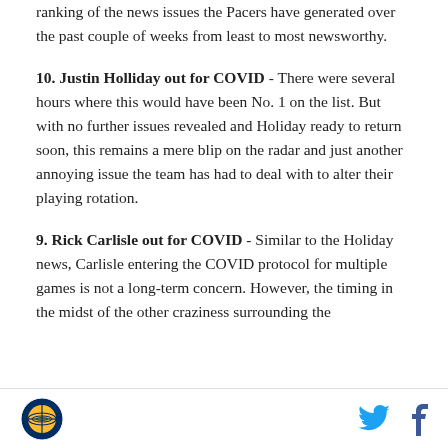ranking of the news issues the Pacers have generated over the past couple of weeks from least to most newsworthy.
10. Justin Holliday out for COVID - There were several hours where this would have been No. 1 on the list. But with no further issues revealed and Holiday ready to return soon, this remains a mere blip on the radar and just another annoying issue the team has had to deal with to alter their playing rotation.
9. Rick Carlisle out for COVID - Similar to the Holiday news, Carlisle entering the COVID protocol for multiple games is not a long-term concern. However, the timing in the midst of the other craziness surrounding the